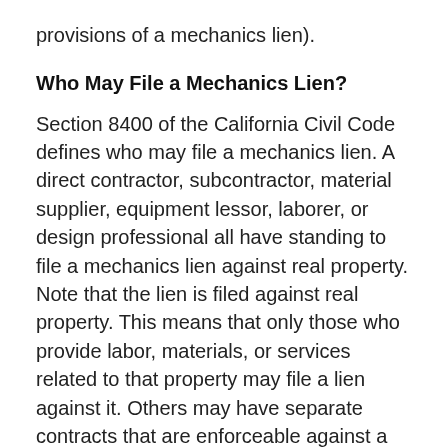provisions of a mechanics lien).
Who May File a Mechanics Lien?
Section 8400 of the California Civil Code defines who may file a mechanics lien. A direct contractor, subcontractor, material supplier, equipment lessor, laborer, or design professional all have standing to file a mechanics lien against real property. Note that the lien is filed against real property. This means that only those who provide labor, materials, or services related to that property may file a lien against it. Others may have separate contracts that are enforceable against a delinquent property owner, but they will not have the option of filing a mechanics lien against the property.